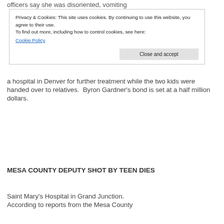officers say she was disoriented, vomiting
Privacy & Cookies: This site uses cookies. By continuing to use this website, you agree to their use. To find out more, including how to control cookies, see here: Cookie Policy
Close and accept
a hospital in Denver for further treatment while the two kids were handed over to relatives.  Byron Gardner’s bond is set at a half million dollars.
MESA COUNTY DEPUTY SHOT BY TEEN DIES
Saint Mary’s Hospital in Grand Junction. According to reports from the Mesa County